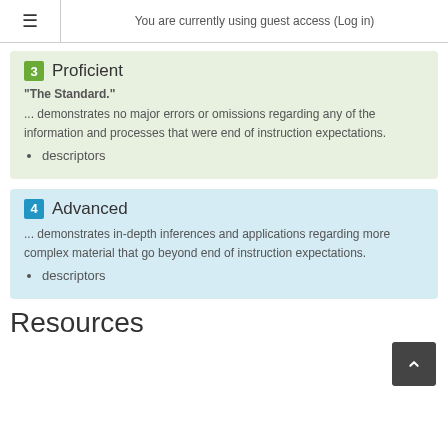You are currently using guest access (Log in)
3 Proficient
“The Standard.”
... demonstrates no major errors or omissions regarding any of the information and processes that were end of instruction expectations.
descriptors
4 Advanced
... demonstrates in-depth inferences and applications regarding more complex material that go beyond end of instruction expectations.
descriptors
Resources